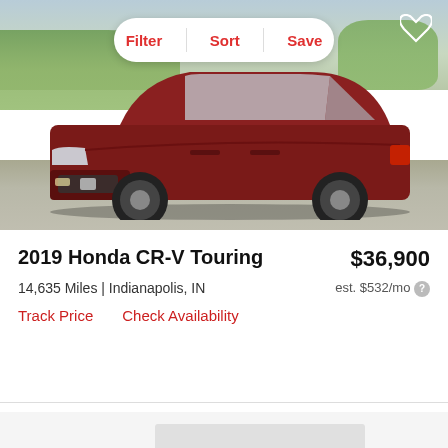[Figure (photo): Red/maroon 2019 Honda CR-V Touring SUV parked in a lot with green trees and sky in background. Filter/Sort/Save toolbar overlay at top.]
2019 Honda CR-V Touring
$36,900
14,635 Miles | Indianapolis, IN
est. $532/mo
Track Price   Check Availability